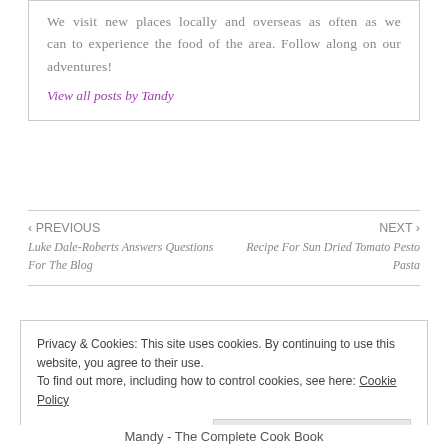We visit new places locally and overseas as often as we can to experience the food of the area. Follow along on our adventures!
View all posts by Tandy
‹ PREVIOUS Luke Dale-Roberts Answers Questions For The Blog
NEXT › Recipe For Sun Dried Tomato Pesto Pasta
Privacy & Cookies: This site uses cookies. By continuing to use this website, you agree to their use.
To find out more, including how to control cookies, see here: Cookie Policy
Close and accept
Mandy - The Complete Cook Book